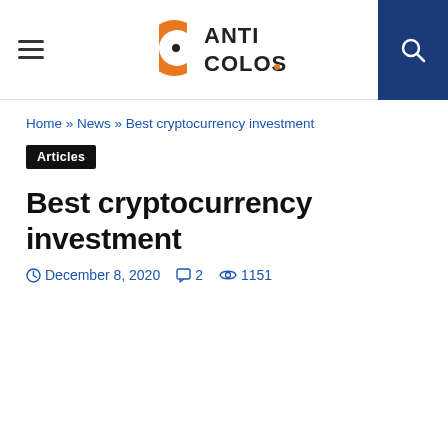ANTI COLOS
Home » News » Best cryptocurrency investment
Articles
Best cryptocurrency investment
December 8, 2020  2  1151
In this article, we want to talk about the Best cryptocurrency